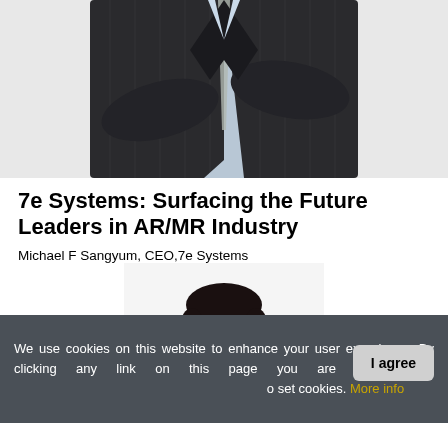[Figure (photo): Partial view of a person in a dark pinstripe suit with arms crossed, white shirt and light tie visible, cropped at chest level]
7e Systems: Surfacing the Future Leaders in AR/MR Industry
Michael F Sangyum, CEO,7e Systems
[Figure (photo): Portrait of a man in a dark suit with short dark hair, smiling slightly, white background]
We use cookies on this website to enhance your user experience. By clicking any link on this page you are giving your consent for us to set cookies. More info